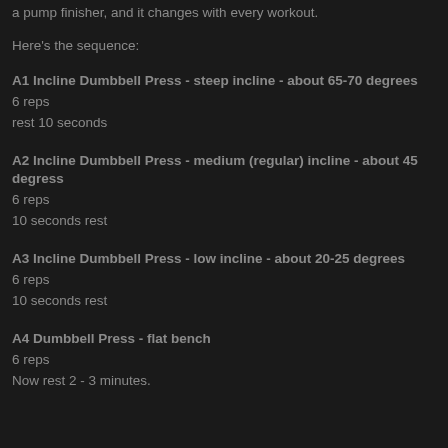a pump finisher, and it changes with every workout.
Here's the sequence:
A1 Incline Dumbbell Press - steep incline - about 65-70 degrees
6 reps
rest 10 seconds
A2 Incline Dumbbell Press - medium (regular) incline - about 45 degress
6 reps
10 seconds rest
A3 Incline Dumbbell Press - low incline - about 20-25 degrees
6 reps
10 seconds rest
A4 Dumbbell Press - flat bench
6 reps
Now rest 2 - 3 minutes.